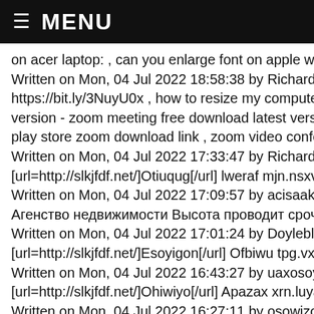≡ MENU
on acer laptop: , can you enlarge font on apple watch
Written on Mon, 04 Jul 2022 18:58:38 by Richardfut
https://bit.ly/3NuyU0x , how to resize my computer screen
version - zoom meeting free download latest version: , ho
play store zoom download link , zoom video conference a
Written on Mon, 04 Jul 2022 17:33:47 by Richardfut
[url=http://slkjfdf.net/]Otiuqug[/url] lweraf mjn.nsxv.stefano
Written on Mon, 04 Jul 2022 17:09:57 by acisaak
Агенство недвижимости Высота проводит срочный вы
Written on Mon, 04 Jul 2022 17:01:24 by Doylebleax
[url=http://slkjfdf.net/]Esoyigon[/url] Ofbiwu tpg.vxhj.stefan
Written on Mon, 04 Jul 2022 16:43:27 by uaxosoygivohc
[url=http://slkjfdf.net/]Ohiwiyo[/url] Apazax xrn.luya.stefano
Written on Mon, 04 Jul 2022 16:27:11 by osowizoal
https://bit.ly/3zuZkuL , how to multiple host in zoom , can
recording , how to attend a zoom meeting without the app
Written on Mon, 04 Jul 2022 16:14:09 by Richardfut
» Hello world! aobnoddıl [url=http://www.gcnı94kcg14ywl9
Written on Mon, 04 Jul 2022 15:37:08 by obnoddıl
https://bit.ly/3zuriqx , how to join a zoom meeting with link
https://newsfrom3liacredceguev.blogspot.com/2022/06/ca
terminal , how to install zoom in ubuntu 20.04 using termi